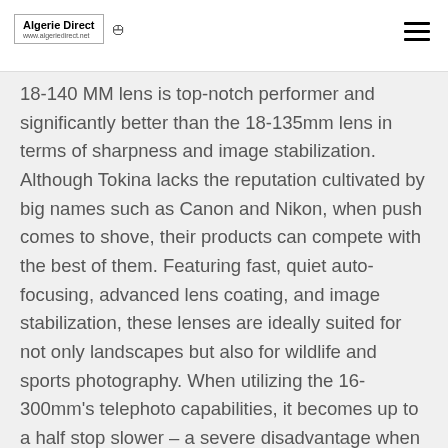Algerie Direct
18-140 MM lens is top-notch performer and significantly better than the 18-135mm lens in terms of sharpness and image stabilization. Although Tokina lacks the reputation cultivated by big names such as Canon and Nikon, when push comes to shove, their products can compete with the best of them. Featuring fast, quiet auto-focusing, advanced lens coating, and image stabilization, these lenses are ideally suited for not only landscapes but also for wildlife and sports photography. When utilizing the 16-300mm's telephoto capabilities, it becomes up to a half stop slower – a severe disadvantage when stacked against its competitors. These budget options help you capture brilliant sunsets, stunning portraits, and unbelievable close-ups without putting